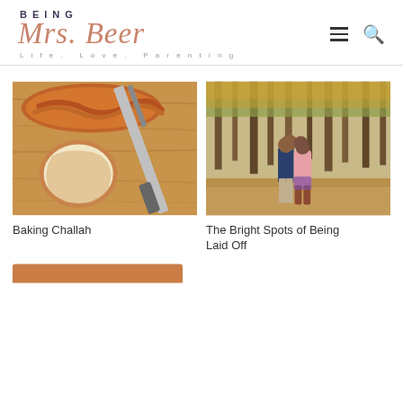[Figure (logo): Being Mrs. Beer blog logo with tagline 'Life. Love. Parenting.' and navigation hamburger menu and search icons]
[Figure (photo): Photo of challah bread on a wooden cutting board with a knife]
Baking Challah
[Figure (photo): Photo of a couple kissing in an autumn forest, man in navy blue sweater and woman in pink coat]
The Bright Spots of Being Laid Off
[Figure (photo): Partial photo at bottom of page, appears to be another blog post thumbnail]